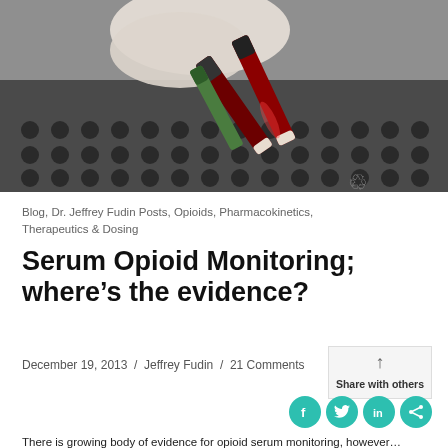[Figure (photo): Gloved hand holding blood collection tubes (vials with dark red blood) over a rack of test tube holders in a laboratory setting.]
Blog, Dr. Jeffrey Fudin Posts, Opioids, Pharmacokinetics, Therapeutics & Dosing
Serum Opioid Monitoring; where’s the evidence?
December 19, 2013 / Jeffrey Fudin / 21 Comments
Share with others
There is growing body of evidence for opioid serum monitoring, however…